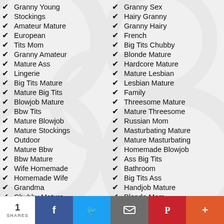Granny Young
Stockings
Amateur Mature
European
Tits Mom
Granny Amateur
Mature Ass
Lingerie
Big Tits Mature
Mature Big Tits
Blowjob Mature
Bbw Tits
Mature Blowjob
Mature Stockings
Outdoor
Mature Bbw
Bbw Mature
Wife Homemade
Homemade Wife
Grandma
Chubby Mature
Granny Sex
Hairy Granny
Granny Hairy
French
Big Tits Chubby
Blonde Mature
Hardcore Mature
Mature Lesbian
Lesbian Mature
Family
Threesome Mature
Mature Threesome
Russian Mom
Masturbating Mature
Mature Masturbating
Homemade Blowjob
Ass Big Tits
Bathroom
Big Tits Ass
Handjob Mature
Blonde Mom
1 SHARES  f  Twitter  Email  Pinterest  +